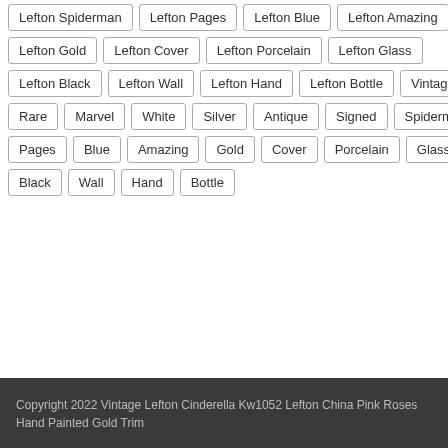Lefton Spiderman, Lefton Pages, Lefton Blue, Lefton Amazing
Lefton Gold, Lefton Cover, Lefton Porcelain, Lefton Glass
Lefton Black, Lefton Wall, Lefton Hand, Lefton Bottle, Vintage
Rare, Marvel, White, Silver, Antique, Signed, Spiderman
Pages, Blue, Amazing, Gold, Cover, Porcelain, Glass
Black, Wall, Hand, Bottle
Copyright 2022 Vintage Lefton Cinderella Kw1052 Lefton China Pink Roses Hand Painted Gold Trim